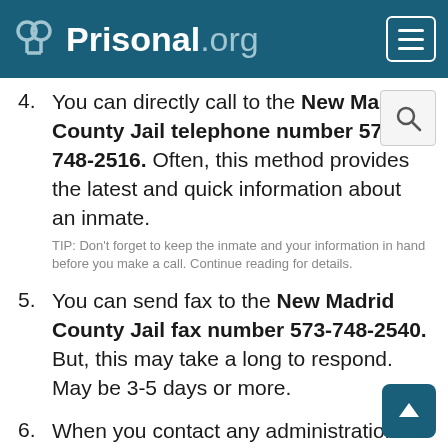Prisonal.org
4. You can directly call to the New Madrid County Jail telephone number 573-748-2516. Often, this method provides the latest and quick information about an inmate. TIP: Don't forget to keep the inmate and your information in hand before you make a call. Continue reading for details.
5. You can send fax to the New Madrid County Jail fax number 573-748-2540. But, this may take a long to respond. May be 3-5 days or more.
6. When you contact any administration department keep information of your inmate in hand. This information includes Full Name, Age, Gender, Date of Birth, and Inmate ID. You should also keep your personal information in hand like your ID Card, Driving Licence, etc. These types of information are always asked when you